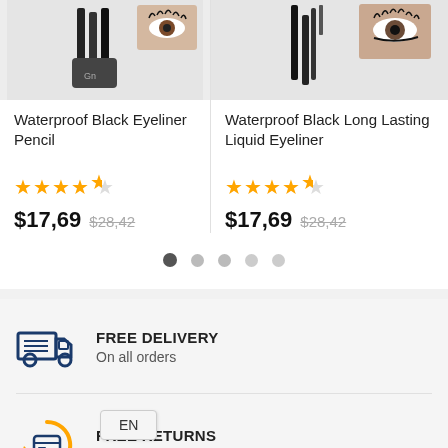[Figure (photo): Product image of Waterproof Black Eyeliner Pencil with black pencils and cap on light background]
Waterproof Black Eyeliner Pencil
[Figure (other): 4.5 star rating shown in orange stars]
$17,69  $28,42
[Figure (photo): Product image of Waterproof Black Long Lasting Liquid Eyeliner with bottles on light background]
Waterproof Black Long Lasting Liquid Eyeliner
[Figure (other): 4.5 star rating shown in orange stars]
$17,69  $28,42
[Figure (other): Pagination dots: first dot active (dark), followed by 4 lighter dots]
[Figure (illustration): Delivery truck icon in navy blue]
FREE DELIVERY
On all orders
[Figure (illustration): Returns icon with orange circular arrow and blue credit card]
FREE RETURNS
No questions asked return policy
EN